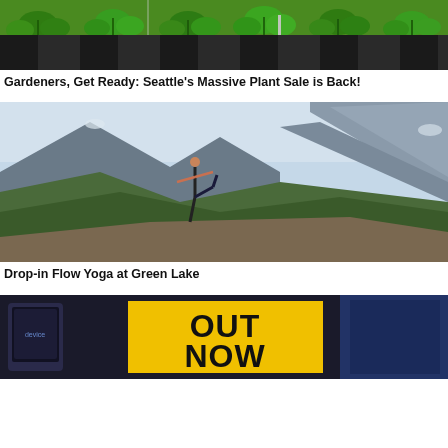[Figure (photo): Close-up photo of young green plant seedlings in black nursery containers]
Gardeners, Get Ready: Seattle's Massive Plant Sale is Back!
[Figure (photo): Person doing a yoga pose (dancer/warrior) on a mountain overlook with scenic mountain and lake backdrop]
Drop-in Flow Yoga at Green Lake
[Figure (photo): Dark background with an 'OUT NOW' yellow sign and electronic devices on the sides]